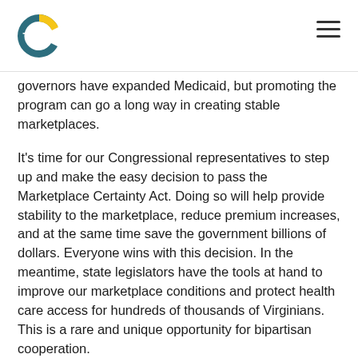TCI
governors have expanded Medicaid, but promoting the program can go a long way in creating stable marketplaces.
It's time for our Congressional representatives to step up and make the easy decision to pass the Marketplace Certainty Act. Doing so will help provide stability to the marketplace, reduce premium increases, and at the same time save the government billions of dollars. Everyone wins with this decision. In the meantime, state legislators have the tools at hand to improve our marketplace conditions and protect health care access for hundreds of thousands of Virginians. This is a rare and unique opportunity for bipartisan cooperation.